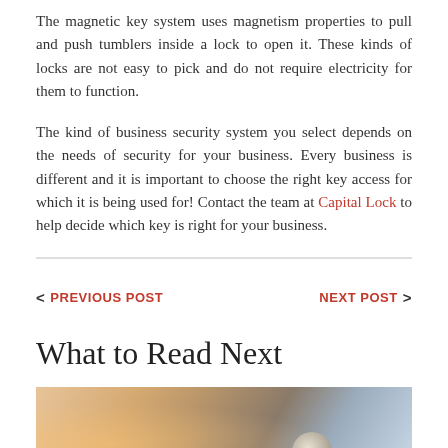The magnetic key system uses magnetism properties to pull and push tumblers inside a lock to open it. These kinds of locks are not easy to pick and do not require electricity for them to function.
The kind of business security system you select depends on the needs of security for your business. Every business is different and it is important to choose the right key access for which it is being used for! Contact the team at Capital Lock to help decide which key is right for your business.
< PREVIOUS POST    NEXT POST >
What to Read Next
[Figure (photo): Blurred photo of a hand near a lock mechanism on a safe or door, warm orange light on the left, metallic object visible in the center-right]